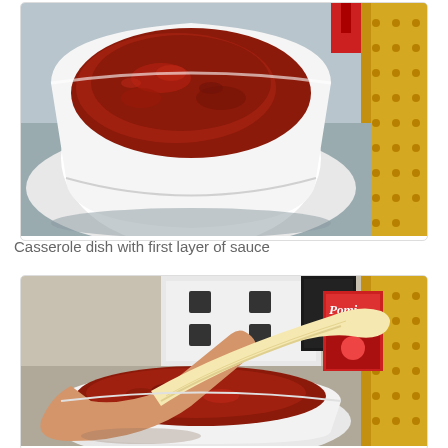[Figure (photo): A white casserole dish filled with red tomato sauce, sitting on a kitchen counter with a yellow textured placemat visible on the right side.]
Casserole dish with first layer of sauce
[Figure (photo): A hand holding a piece of pasta or dough over a white casserole dish filled with red tomato sauce. In the background, a Pomi brand tomato product box and kitchen appliances are visible.]